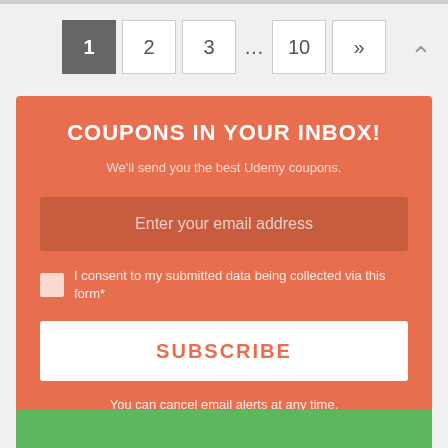[Figure (other): Pagination navigation bar with numbered page buttons: 1 (active/dark), 2, 3, ..., 10, >> and an up-arrow icon on the right]
COUPONS IN YOUR INBOX!
We'll send you the best Udemy coupons.
Enter your email address
I consent to my submitted data being collected via this form*
SUBSCRIBE
You can cancel email alerts at any time.